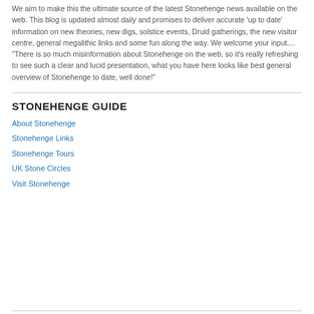We aim to make this the ultimate source of the latest Stonehenge news available on the web. This blog is updated almost daily and promises to deliver accurate 'up to date' information on new theories, new digs, solstice events, Druid gatherings, the new visitor centre, general megalithic links and some fun along the way. We welcome your input.... "There is so much misinformation about Stonehenge on the web, so it's really refreshing to see such a clear and lucid presentation, what you have here looks like best general overview of Stonehenge to date, well done!"
STONEHENGE GUIDE
About Stonehenge
Stonehenge Links
Stonehenge Tours
UK Stone Circles
Visit Stonehenge